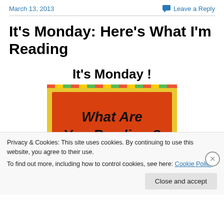March 13, 2013    Leave a Reply
It’s Monday: Here’s What I’m Reading
[Figure (illustration): Blog meme image showing 'It's Monday!' text above an orange sign reading 'What Are You Reading?']
Privacy & Cookies: This site uses cookies. By continuing to use this website, you agree to their use.
To find out more, including how to control cookies, see here: Cookie Policy